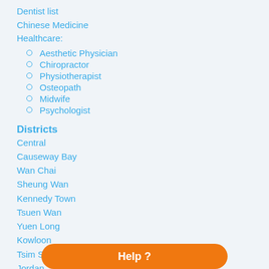Dentist list
Chinese Medicine
Healthcare:
Aesthetic Physician
Chiropractor
Physiotherapist
Osteopath
Midwife
Psychologist
Districts
Central
Causeway Bay
Wan Chai
Sheung Wan
Kennedy Town
Tsuen Wan
Yuen Long
Kowloon
Tsim Sha Tsui
Jordan
Mong Kok
Help ?